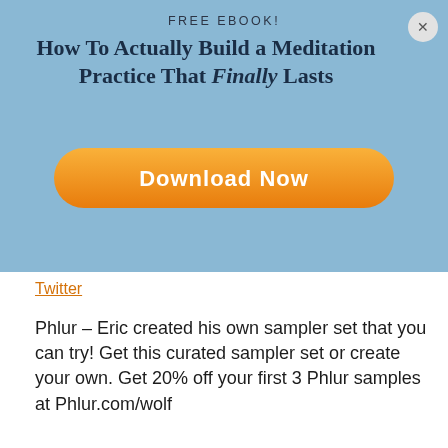FREE EBOOK!
How To Actually Build a Meditation Practice That Finally Lasts
[Figure (other): Orange pill-shaped download button with text 'Download Now']
Twitter
Phlur – Eric created his own sampler set that you can try! Get this curated sampler set or create your own. Get 20% off your first 3 Phlur samples at Phlur.com/wolf
FabFitFun – A women's lifestyle subscription box filled with full-size premium items that you will love. Eric's girlfriend is honestly obsessed because the items in this box are just so good. Give yourself this gift – use the